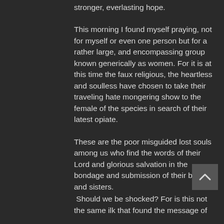stronger, everlasting hope.
This morning I found myself praying, not for myself or even one person but for a rather large, and encompassing group known generically as women. For it is at this time the faux religious, the heartless and soulless have chosen to take their traveling hate mongering show to the female of the species in search of their latest opiate.
These are the poor misguided lost souls among us who find the words of their Lord and glorious salvation in the bondage and submission of their brothers and sisters.
Should we be shocked? For is this not the same ilk that found the message of